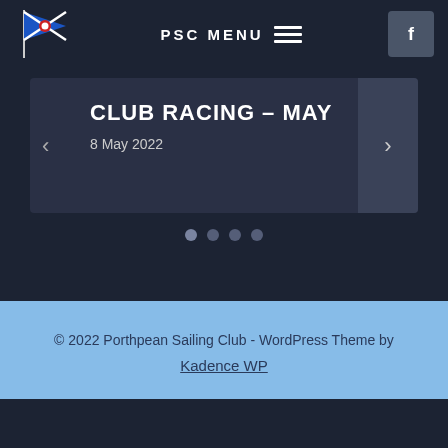PSC MENU
CLUB RACING – MAY
8 May 2022
© 2022 Porthpean Sailing Club - WordPress Theme by Kadence WP